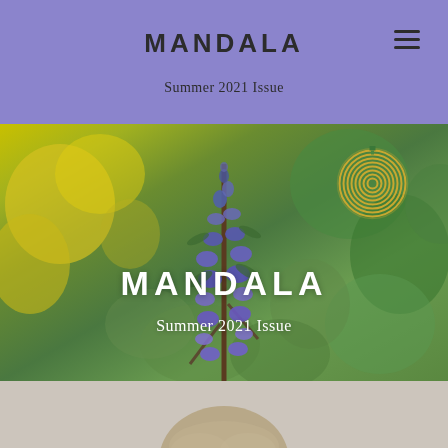MANDALA
Summer 2021 Issue
[Figure (photo): Hero image of purple flowering spike plant (Vitex/salvia) with yellow and green bokeh background, overlaid with MANDALA title text, Summer 2021 Issue subtitle, and golden spiral mandala logo in upper right]
[Figure (photo): Partial photo of a person with blonde/light brown hair visible from top of frame, light neutral background]